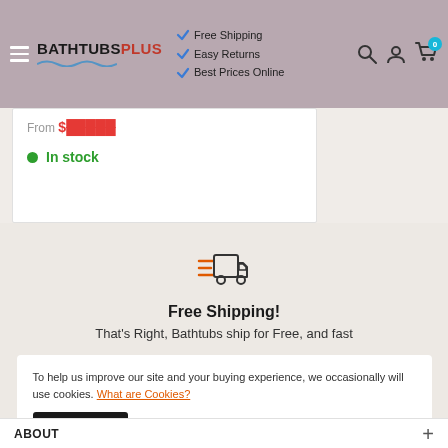[Figure (screenshot): BathtubsPlus website header with logo, checkmarks for Free Shipping, Easy Returns, Best Prices Online, and navigation icons]
From $... (price partially visible)
In stock
[Figure (illustration): Fast delivery truck icon with speed lines in orange/red outline style]
Free Shipping!
That's Right, Bathtubs ship for Free, and fast
To help us improve our site and your buying experience, we occasionally will use cookies. What are Cookies?
Accept
ABOUT